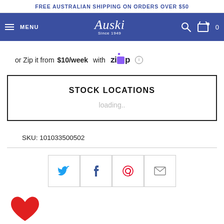FREE AUSTRALIAN SHIPPING ON ORDERS OVER $50
[Figure (logo): Auski Since 1949 logo with hamburger menu, search and cart icons on blue navigation bar]
or Zip it from $10/week with Zip ℹ
STOCK LOCATIONS
loading..
SKU: 101033500502
[Figure (infographic): Social share buttons: Twitter, Facebook, Pinterest, Email]
[Figure (illustration): Red heart/favourite icon]